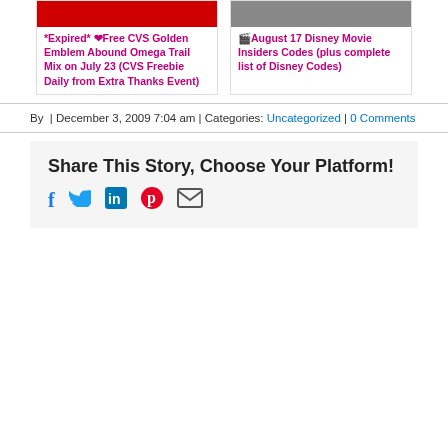*Expired* ❤Free CVS Golden Emblem Abound Omega Trail Mix on July 23 (CVS Freebie Daily from Extra Thanks Event)
🎬August 17 Disney Movie Insiders Codes (plus complete list of Disney Codes)
By  | December 3, 2009 7:04 am | Categories: Uncategorized | 0 Comments
Share This Story, Choose Your Platform!